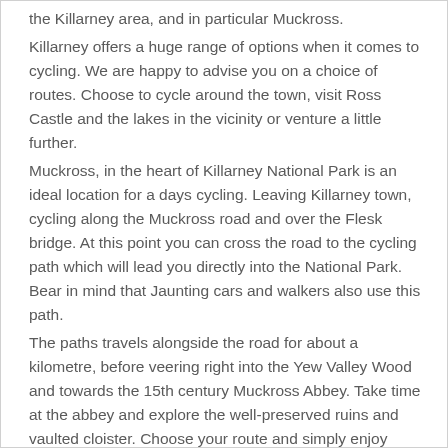...with a 2-Star, you are in the perfect position to explore the Killarney area, and in particular Muckross.
Killarney offers a huge range of options when it comes to cycling. We are happy to advise you on a choice of routes. Choose to cycle around the town, visit Ross Castle and the lakes in the vicinity or venture a little further.
Muckross, in the heart of Killarney National Park is an ideal location for a days cycling. Leaving Killarney town, cycling along the Muckross road and over the Flesk bridge. At this point you can cross the road to the cycling path which will lead you directly into the National Park. Bear in mind that Jaunting cars and walkers also use this path.
The paths travels alongside the road for about a kilometre, before veering right into the Yew Valley Wood and towards the 15th century Muckross Abbey. Take time at the abbey and explore the well-preserved ruins and vaulted cloister. Choose your route and simply enjoy stunning Killarney.